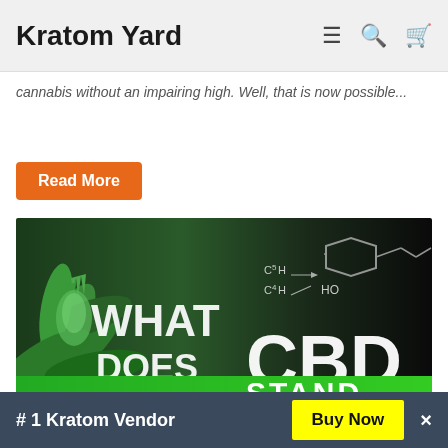Kratom Yard
cannabis without an impairing high. Well, that is now possible...
Read More
[Figure (photo): Article thumbnail image showing text 'WHAT DOES CBD STAND' over a cannabis plant background with a chemical structure diagram overlay (C5H and HO groups visible), bright green bar at bottom with 'STAND' text]
# 1 Kratom Vendor  Buy Now  ×